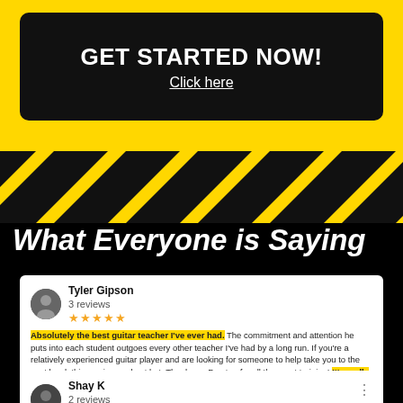GET STARTED NOW!
Click here
[Figure (illustration): Hazard/caution diagonal black and yellow stripes banner]
What Everyone is Saying
Tyler Gipson
3 reviews
★★★★★
Absolutely the best guitar teacher I've ever had. The commitment and attention he puts into each student outgoes every other teacher I've had by a long run. If you're a relatively experienced guitar player and are looking for someone to help take you to the next level, this guy is your best bet. Thank you Preston for all the great training! It's really paying off in the studio!
Shay K
2 reviews
★★★★★